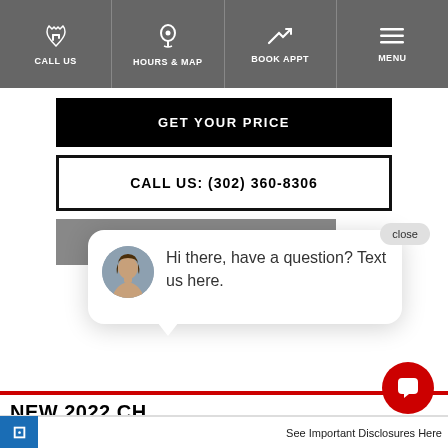CALL US | HOURS & MAP | BOOK APPT | MENU
GET YOUR PRICE
CALL US: (302) 360-8306
EXPLORE PAYMENTS
close
Hi there, have a question? Text us here.
NEW 2022 CH...
Crew Cab Short Box 4-Wheel Drive High Country
MSRP $...445
I.G. BURTON CONTA...S
See Important Disclosures Here